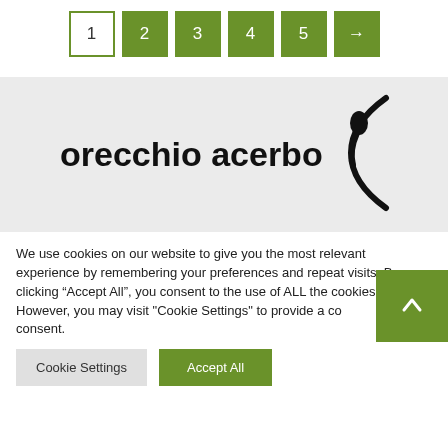Pagination: 1 2 3 4 5 →
[Figure (logo): Orecchio Acerbo publisher logo — text 'orecchio acerbo' with a stylized comma/bracket symbol on a light grey background]
We use cookies on our website to give you the most relevant experience by remembering your preferences and repeat visits. By clicking "Accept All", you consent to the use of ALL the cookies. However, you may visit "Cookie Settings" to provide a controlled consent.
Cookie Settings | Accept All